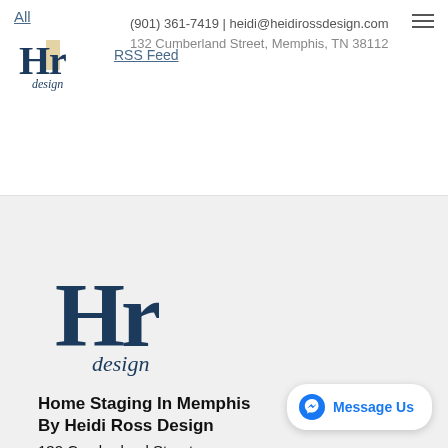All | RSS Feed
(901) 361-7419 | heidi@heidirossdesign.com
132 Cumberland Street, Memphis, TN 38112
[Figure (logo): Hr design handwritten logo in dark navy blue script]
Home Staging In Memphis
By Heidi Ross Design
132 Cumberland Street
Memphis, TN 38112
heidi@heidirossdesign.com
(901) 361-7419